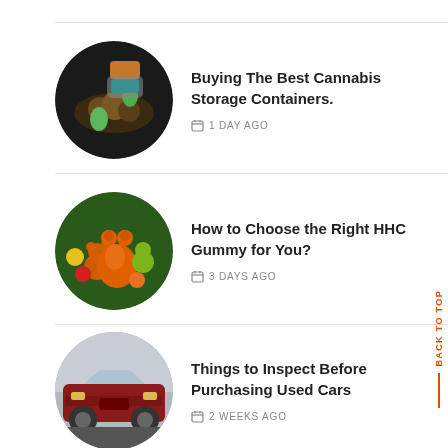[Figure (photo): Circular thumbnail photo of cannabis products including flowers and green candy shapes on dark background]
Buying The Best Cannabis Storage Containers.
1 DAY AGO
[Figure (photo): Circular thumbnail photo of colorful HHC gummy bears with a large orange bear in center]
How to Choose the Right HHC Gummy for You?
3 DAYS AGO
[Figure (photo): Circular thumbnail photo of a red/maroon car (Alfa Romeo) from front angle]
Things to Inspect Before Purchasing Used Cars
2 WEEKS AGO